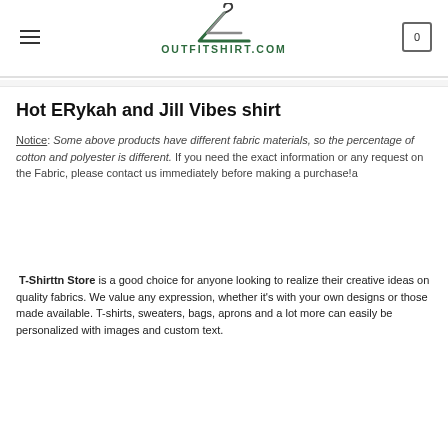OUTFITSHIRT.COM
Hot ERykah and Jill Vibes shirt
Notice: Some above products have different fabric materials, so the percentage of cotton and polyester is different. If you need the exact information or any request on the Fabric, please contact us immediately before making a purchase!a
T-Shirttn Store is a good choice for anyone looking to realize their creative ideas on quality fabrics. We value any expression, whether it’s with your own designs or those made available. T-shirts, sweaters, bags, aprons and a lot more can easily be personalized with images and custom text.